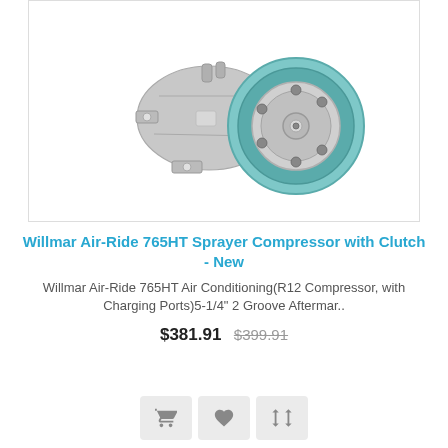[Figure (photo): Photo of a Willmar Air-Ride 765HT sprayer AC compressor with clutch pulley (teal/silver), shown on white background inside a bordered image box.]
Willmar Air-Ride 765HT Sprayer Compressor with Clutch - New
Willmar Air-Ride 765HT Air Conditioning(R12 Compressor, with Charging Ports)5-1/4" 2 Groove Aftermar..
$381.91  $399.91